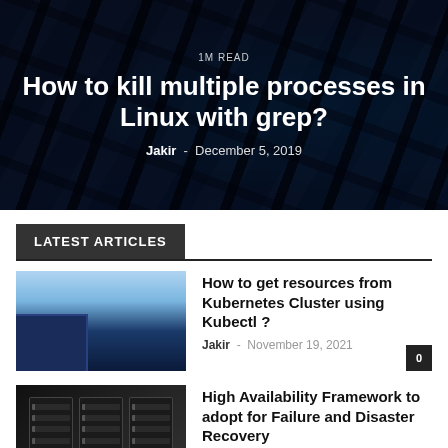1M READ
How to kill multiple processes in Linux with grep?
Jakir - December 5, 2019
LATEST ARTICLES
[Figure (photo): Thumbnail image for Kubernetes article showing a blue gradient with dark storage containers at the bottom]
How to get resources from Kubernetes Cluster using Kubectl ?
Jakir - November 19, 2021
[Figure (photo): Thumbnail image for High Availability article showing dark server racks in a data center]
High Availability Framework to adopt for Failure and Disaster Recovery
Jakir - November 19, 2021